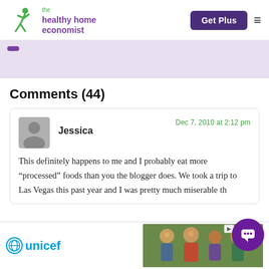the healthy home economist | Get Plus
[Figure (other): Lavender/purple advertisement banner area]
Comments (44)
Jessica — Dec 7, 2010 at 2:12 pm — This definitely happens to me and I probably eat more "processed" foods than you the blogger does. We took a trip to Las Vegas this past year and I was pretty much miserable th...
[Figure (other): UNICEF advertisement banner with photo of smiling children]